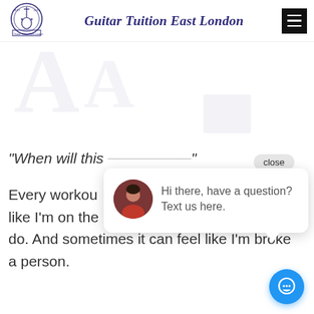Guitar Tuition East London
[Figure (screenshot): Website screenshot showing Guitar Tuition East London header with logo, site title, and hamburger menu, plus hero section with faded watermark guitar imagery]
“When will this exercise feel easy?”
Every workout like I’m on the do. And sometimes it can feel like I’m broke a person.
[Figure (screenshot): Chat popup widget showing avatar of a woman and text: Hi there, have a question? Text us here. With close button and blue chat icon button.]